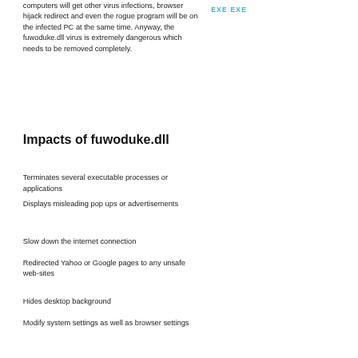computers will get other virus infections, browser hijack redirect and even the rogue program will be on the infected PC at the same time. Anyway, the fuwoduke.dll virus is extremely dangerous which needs to be removed completely.
EXE EXE
Impacts of fuwoduke.dll
Terminates several executable processes or applications
Displays misleading pop ups or advertisements
Slow down the internet connection
Redirected Yahoo or Google pages to any unsafe web-sites
Hides desktop background
Modify system settings as well as browser settings